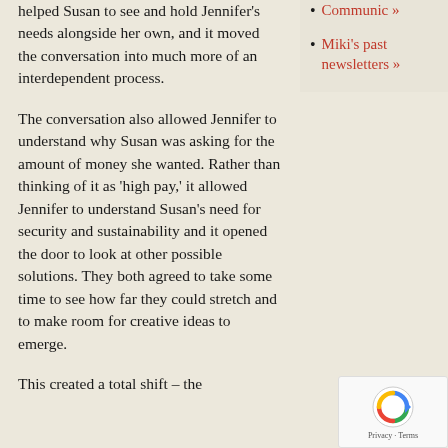helped Susan to see and hold Jennifer's needs alongside her own, and it moved the conversation into much more of an interdependent process.
The conversation also allowed Jennifer to understand why Susan was asking for the amount of money she wanted. Rather than thinking of it as 'high pay,' it allowed Jennifer to understand Susan's need for security and sustainability and it opened the door to look at other possible solutions. They both agreed to take some time to see how far they could stretch and to make room for creative ideas to emerge.
Communic »
Miki's past newsletters »
This created a total shift – the